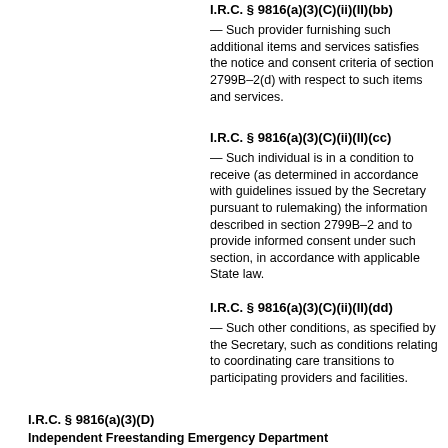I.R.C. § 9816(a)(3)(C)(ii)(II)(bb)
— Such provider furnishing such additional items and services satisfies the notice and consent criteria of section 2799B–2(d) with respect to such items and services.
I.R.C. § 9816(a)(3)(C)(ii)(II)(cc)
— Such individual is in a condition to receive (as determined in accordance with guidelines issued by the Secretary pursuant to rulemaking) the information described in section 2799B–2 and to provide informed consent under such section, in accordance with applicable State law.
I.R.C. § 9816(a)(3)(C)(ii)(II)(dd)
— Such other conditions, as specified by the Secretary, such as conditions relating to coordinating care transitions to participating providers and facilities.
I.R.C. § 9816(a)(3)(D)
Independent Freestanding Emergency Department — The term “independent freestanding emergency department” means a health care facility that—
I.R.C. § 9816(a)(3)(D)(i)
— is geographically separate and distinct and licensed separately from a hospital under applicable State law; and